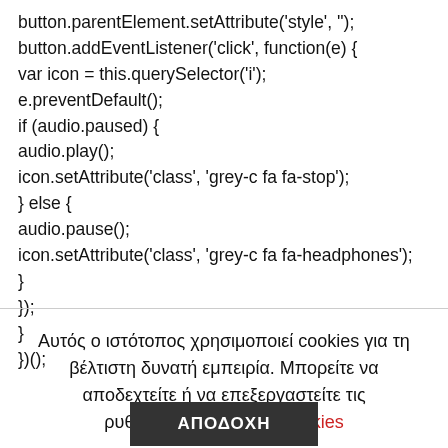button.parentElement.setAttribute('style', '');
button.addEventListener('click', function(e) {
var icon = this.querySelector('i');
e.preventDefault();
if (audio.paused) {
audio.play();
icon.setAttribute('class', 'grey-c fa fa-stop');
} else {
audio.pause();
icon.setAttribute('class', 'grey-c fa fa-headphones');
}
});
}
})();
Αυτός ο ιστότοπος χρησιμοποιεί cookies για τη βέλτιστη δυνατή εμπειρία. Μπορείτε να αποδεχτείτε ή να επεξεργαστείτε τις ρυθμίσεις. Ρυθμίσεις Cookies
ΑΠΟΔΟΧΗ